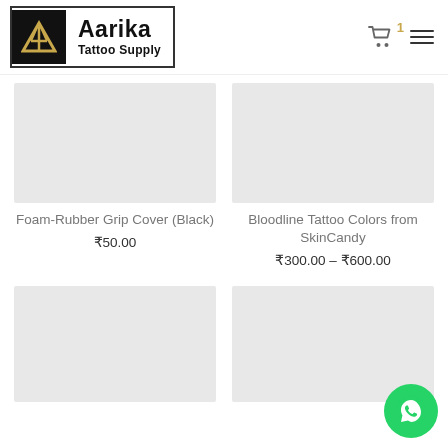[Figure (logo): Aarika Tattoo Supply logo with golden A emblem on black background]
[Figure (photo): Foam-Rubber Grip Cover (Black) product image placeholder]
Foam-Rubber Grip Cover (Black)
₹50.00
[Figure (photo): Bloodline Tattoo Colors from SkinCandy product image placeholder]
Bloodline Tattoo Colors from SkinCandy
₹300.00 – ₹600.00
[Figure (photo): Third product image placeholder (partial, bottom of page)]
[Figure (photo): Fourth product image placeholder (partial, bottom of page)]
[Figure (other): WhatsApp contact button in bottom right corner]